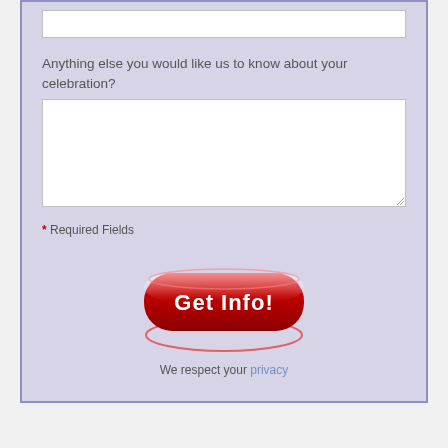Anything else you would like us to know about your celebration?
* Required Fields
[Figure (other): Red 3D button with white bold text 'Get Info!' surrounded by a red oval/ellipse shadow shape]
We respect your privacy